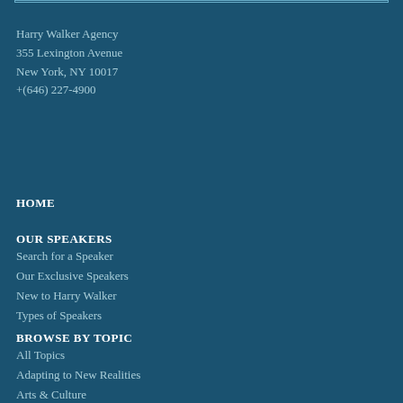Harry Walker Agency
355 Lexington Avenue
New York, NY 10017
+(646) 227-4900
HOME
OUR SPEAKERS
Search for a Speaker
Our Exclusive Speakers
New to Harry Walker
Types of Speakers
BROWSE BY TOPIC
All Topics
Adapting to New Realities
Arts & Culture